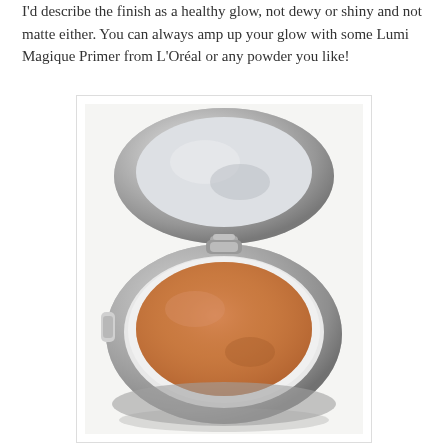I'd describe the finish as a healthy glow, not dewy or shiny and not matte either. You can always amp up your glow with some Lumi Magique Primer from L'Oréal or any powder you like!
[Figure (photo): An open cushion compact foundation with a silver metallic case. The lid is open revealing a mirror on the inside of the lid, and the bottom section shows a round orange/tan cushion soaked with foundation product. The compact is photographed on a white surface.]